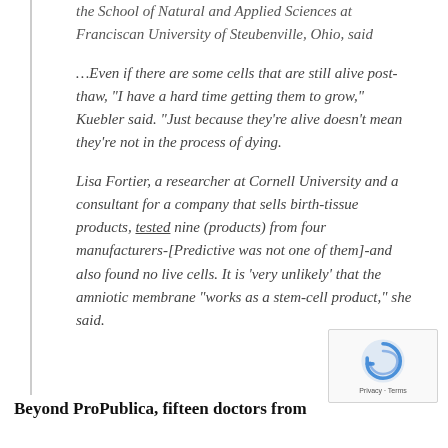the School of Natural and Applied Sciences at Franciscan University of Steubenville, Ohio, said
…Even if there are some cells that are still alive post-thaw, “I have a hard time getting them to grow,” Kuebler said. “Just because they’re alive doesn’t mean they’re not in the process of dying.
Lisa Fortier, a researcher at Cornell University and a consultant for a company that sells birth-tissue products, tested nine (products) from four manufacturers-[Predictive was not one of them]-and also found no live cells. It is ‘very unlikely’ that the amniotic membrane “works as a stem-cell product,” she said.
Beyond ProPublica, fifteen doctors from